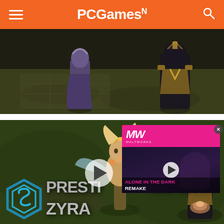PCGamesN
[Figure (screenshot): League of Legends game screenshot showing characters on a dark map background - top portion showing two characters]
[Figure (screenshot): League of Legends game screenshot showing a fairy-like character (Prestige Zyra skin) on green map, with overlaid text 'PRESTIGE ZYRA' and an S-logo (Skillshot Media). An ad overlay for 'Alone in the Dark Remake' from MW Networks is visible on the right side with a play button.]